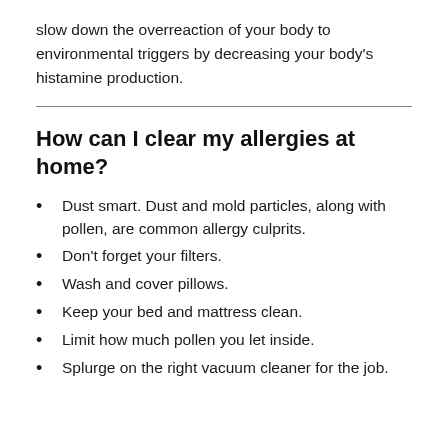slow down the overreaction of your body to environmental triggers by decreasing your body's histamine production.
How can I clear my allergies at home?
Dust smart. Dust and mold particles, along with pollen, are common allergy culprits.
Don't forget your filters.
Wash and cover pillows.
Keep your bed and mattress clean.
Limit how much pollen you let inside.
Splurge on the right vacuum cleaner for the job.